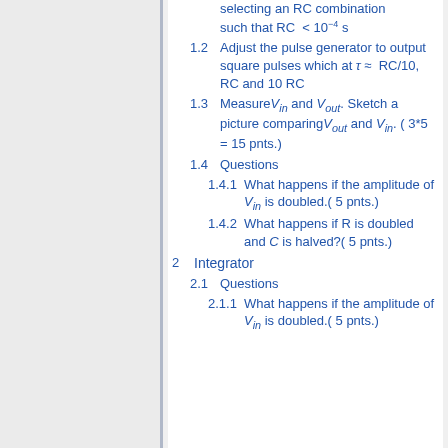1.2 Adjust the pulse generator to output square pulses which at τ ≈ RC/10, RC and 10 RC
1.3 Measure V_in and V_out. Sketch a picture comparing V_out and V_in. ( 3*5 = 15 pnts.)
1.4 Questions
1.4.1 What happens if the amplitude of V_in is doubled.( 5 pnts.)
1.4.2 What happens if R is doubled and C is halved?( 5 pnts.)
2 Integrator
2.1 Questions
2.1.1 What happens if the amplitude of V_in is doubled.( 5 pnts.)